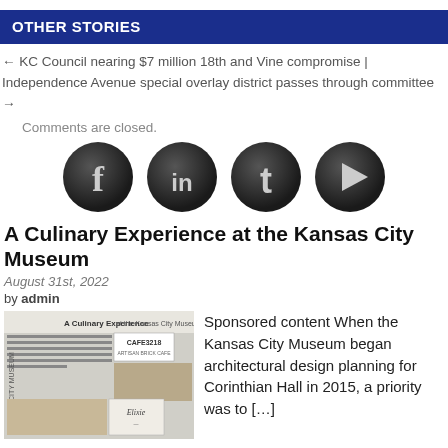OTHER STORIES
← KC Council nearing $7 million 18th and Vine compromise | Independence Avenue special overlay district passes through committee →
Comments are closed.
[Figure (other): Four social media icon buttons: Facebook (f), LinkedIn (in), Twitter (t), and a play/video button, each as dark circular icons]
A Culinary Experience at the Kansas City Museum
August 31st, 2022
by admin
[Figure (photo): Thumbnail image of a newspaper/magazine article about A Culinary Experience at the Kansas City Museum, showing interior images and the Cafe 3218 logo]
Sponsored content When the Kansas City Museum began architectural design planning for Corinthian Hall in 2015, a priority was to […]